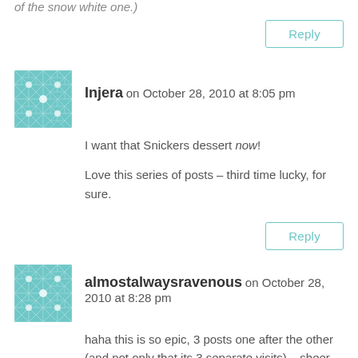of the snow white one.)
Reply
Injera on October 28, 2010 at 8:05 pm
I want that Snickers dessert now!
Love this series of posts – third time lucky, for sure.
Reply
almostalwaysravenous on October 28, 2010 at 8:28 pm
haha this is so epic, 3 posts one after the other (and not only that its 3 separate visits)... sheer dedication and determination!
It's a pity the savoury foods aren't as